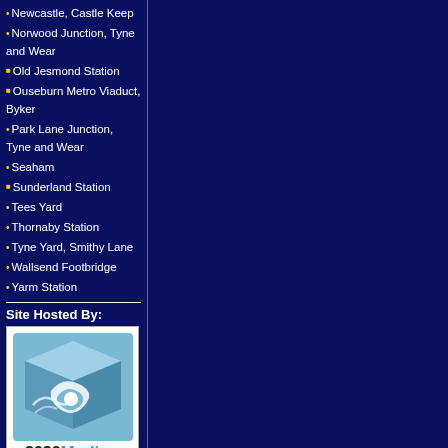Newcastle, Castle Keep
Norwood Junction, Tyne and Wear
Old Jesmond Station
Ouseburn Metro Viaduct, Byker
Park Lane Junction, Tyne and Wear
Seaham
Sunderland Station
Tees Yard
Thornaby Station
Tyne Yard, Smithy Lane
Wallsend Footbridge
Yarm Station
Site Hosted By:
[Figure (logo): 2020Media logo — a blue cube with a swirl/wave design and text '2020Media TM www.2020media.com']